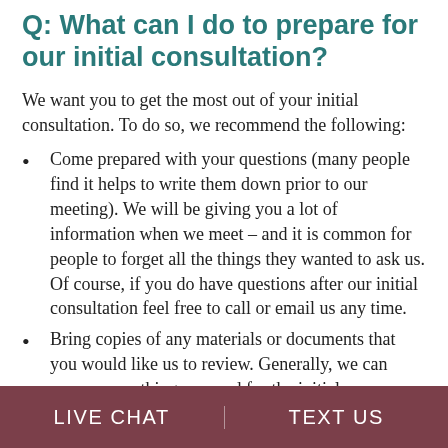Q: What can I do to prepare for our initial consultation?
We want you to get the most out of your initial consultation. To do so, we recommend the following:
Come prepared with your questions (many people find it helps to write them down prior to our meeting). We will be giving you a lot of information when we meet – and it is common for people to forget all the things they wanted to ask us. Of course, if you do have questions after our initial consultation feel free to call or email us any time.
Bring copies of any materials or documents that you would like us to review. Generally, we can access everything we need for the initial
LIVE CHAT   TEXT US